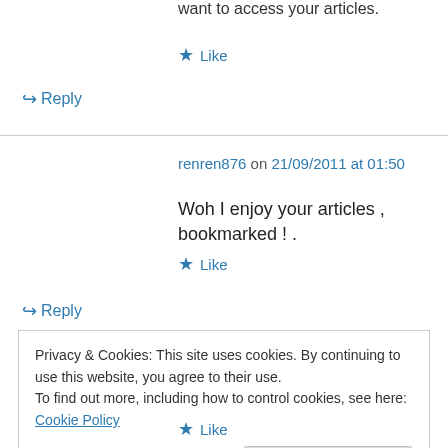want to access your articles.
★ Like
↪ Reply
renren876 on 21/09/2011 at 01:50
Woh I enjoy your articles , bookmarked ! .
★ Like
↪ Reply
Privacy & Cookies: This site uses cookies. By continuing to use this website, you agree to their use. To find out more, including how to control cookies, see here: Cookie Policy
Close and accept
★ Like